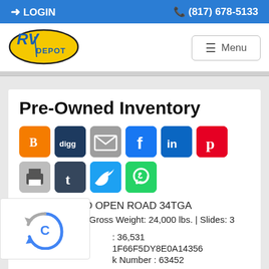LOGIN   (817) 678-5133
[Figure (logo): RV Depot logo - yellow oval with RV Depot text in blue]
Pre-Owned Inventory
2015 ALLEGRO OPEN ROAD 34TGA
Length: 34.83 ft | Gross Weight: 24,000 lbs. | Slides: 3
Miles: 36,531
VIN: 1F66F5DY8E0A14356
Stock Number : 63452
Price: $1,00,005